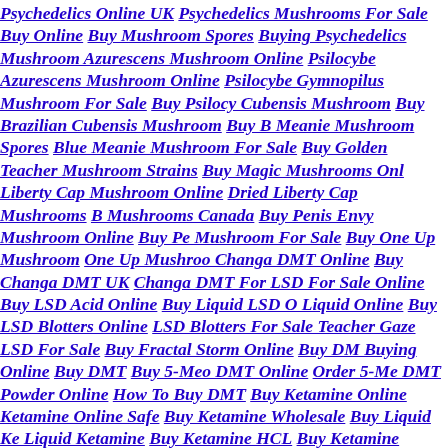Psychedelics Online UK Psychedelics Mushrooms For Sale Buy Online Buy Mushroom Spores Buying Psychedelics Mushroom Azurescens Mushroom Online Psilocybe Azurescens Mushroom Online Psilocybe Gymnopilus Mushroom For Sale Buy Psilocybe Cubensis Mushroom Buy Brazilian Cubensis Mushroom Buy Blue Meanie Mushroom Spores Blue Meanie Mushroom For Sale Buy Golden Teacher Mushroom Strains Buy Magic Mushrooms Online Liberty Cap Mushroom Online Dried Liberty Cap Mushrooms Buy Mushrooms Canada Buy Penis Envy Mushroom Online Buy Penis Envy Mushroom For Sale Buy One Up Mushroom One Up Mushroom Changa DMT Online Buy Changa DMT UK Changa DMT For Sale LSD For Sale Online Buy LSD Acid Online Buy Liquid LSD Online Buy Liquid Online Buy LSD Blotters Online LSD Blotters For Sale Teacher Gaze LSD For Sale Buy Fractal Storm Online Buy DMT Buying Online Buy DMT Buy 5-Meo DMT Online Order 5-Meo DMT Powder Online How To Buy DMT Buy Ketamine Online Buy Ketamine Online Safe Buy Ketamine Wholesale Buy Liquid Ketamine Buy Liquid Ketamine Buy Ketamine HCL Buy Ketamine Crystal Online Buy MDMA Online Order MDMA Online Buy MDMA Molly Online Order MDMA Online Buy MDMA Pills Online Buy MDMA Pills MDMA Online MDMA Powder For Sale Online Buy MDMA Powder A MDMA Test Kit MDMA Crystals For Sale Buy Ayahuasca Online Buy Ayahuasca Online Where To Buy Ayahuasca Online Buy Mescaline Buy Mescaline Extract Online Mescaline For Sale Online Buy Kratom Buy Kratom Pills Online Kratom for Sale Online Ibogaine For Sale